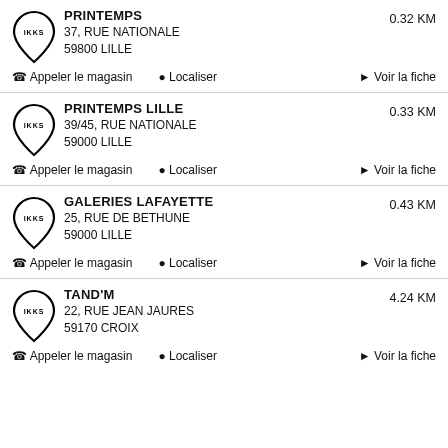PRINTEMPS
37, RUE NATIONALE
59800 LILLE
0.32 KM
Appeler le magasin  Localiser  Voir la fiche
PRINTEMPS LILLE
39/45, RUE NATIONALE
59000 LILLE
0.33 KM
Appeler le magasin  Localiser  Voir la fiche
GALERIES LAFAYETTE
25, RUE DE BETHUNE
59000 LILLE
0.43 KM
Appeler le magasin  Localiser  Voir la fiche
TAND'M
22, RUE JEAN JAURES
59170 CROIX
4.24 KM
Appeler le magasin  Localiser  Voir la fiche